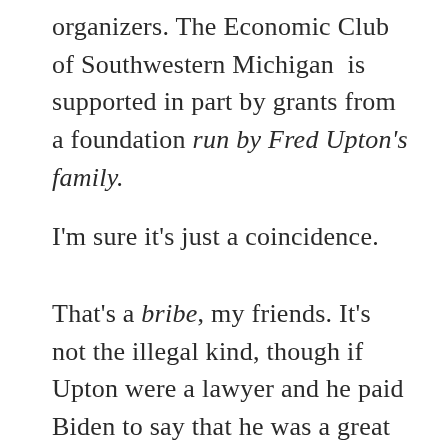organizers. The Economic Club of Southwestern Michigan is supported in part by grants from a foundation run by Fred Upton's family.
I'm sure it's just a coincidence.
That's a bribe, my friends. It's not the illegal kind, though if Upton were a lawyer and he paid Biden to say that he was a great one, that could get Upton